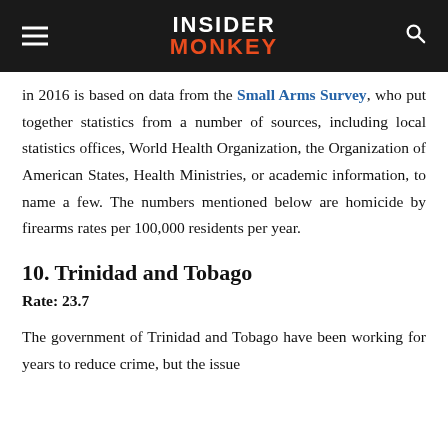INSIDER MONKEY
in 2016 is based on data from the Small Arms Survey, who put together statistics from a number of sources, including local statistics offices, World Health Organization, the Organization of American States, Health Ministries, or academic information, to name a few. The numbers mentioned below are homicide by firearms rates per 100,000 residents per year.
10. Trinidad and Tobago
Rate: 23.7
The government of Trinidad and Tobago have been working for years to reduce crime, but the issue